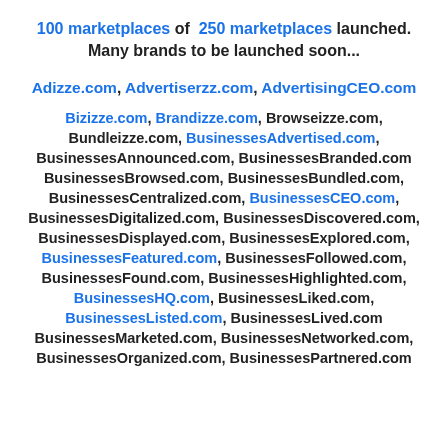100 marketplaces of 250 marketplaces launched. Many brands to be launched soon...
Adizze.com, Advertiserzz.com, AdvertisingCEO.com
Bizizze.com, Brandizze.com, Browseizze.com, Bundleizze.com, BusinessesAdvertised.com, BusinessesAnnounced.com, BusinessesBranded.com BusinessesBrowsed.com, BusinessesBundled.com, BusinessesCentralized.com, BusinessesCEO.com, BusinessesDigitalized.com, BusinessesDiscovered.com, BusinessesDisplayed.com, BusinessesExplored.com, BusinessesFeatured.com, BusinessesFollowed.com, BusinessesFound.com, BusinessesHighlighted.com, BusinessesHQ.com, BusinessesLiked.com, BusinessesListed.com, BusinessesLived.com BusinessesMarketed.com, BusinessesNetworked.com, BusinessesOrganized.com, BusinessesPartnered.com